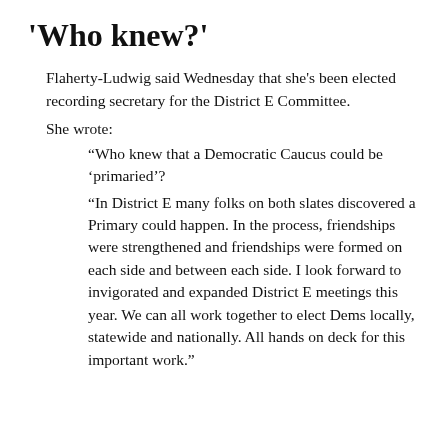'Who knew?'
Flaherty-Ludwig said Wednesday that she's been elected recording secretary for the District E Committee.
She wrote:
“Who knew that a Democratic Caucus could be ‘primaried’?
“In District E many folks on both slates discovered a Primary could happen. In the process, friendships were strengthened and friendships were formed on each side and between each side. I look forward to invigorated and expanded District E meetings this year. We can all work together to elect Dems locally, statewide and nationally. All hands on deck for this important work.”